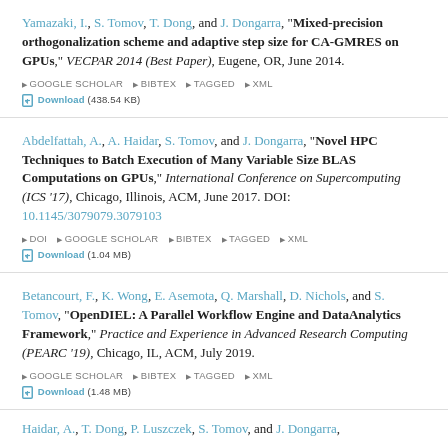Yamazaki, I., S. Tomov, T. Dong, and J. Dongarra, "Mixed-precision orthogonalization scheme and adaptive step size for CA-GMRES on GPUs," VECPAR 2014 (Best Paper), Eugene, OR, June 2014.
Abdelfattah, A., A. Haidar, S. Tomov, and J. Dongarra, "Novel HPC Techniques to Batch Execution of Many Variable Size BLAS Computations on GPUs," International Conference on Supercomputing (ICS '17), Chicago, Illinois, ACM, June 2017. DOI: 10.1145/3079079.3079103
Betancourt, F., K. Wong, E. Asemota, Q. Marshall, D. Nichols, and S. Tomov, "OpenDIEL: A Parallel Workflow Engine and DataAnalytics Framework," Practice and Experience in Advanced Research Computing (PEARC '19), Chicago, IL, ACM, July 2019.
Haidar, A., T. Dong, P. Luszczek, S. Tomov, and J. Dongarra,